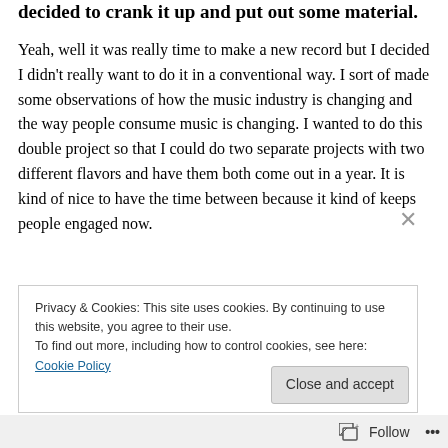decided to crank it up and put out some material.
Yeah, well it was really time to make a new record but I decided I didn't really want to do it in a conventional way. I sort of made some observations of how the music industry is changing and the way people consume music is changing. I wanted to do this double project so that I could do two separate projects with two different flavors and have them both come out in a year. It is kind of nice to have the time between because it kind of keeps people engaged now.
Privacy & Cookies: This site uses cookies. By continuing to use this website, you agree to their use.
To find out more, including how to control cookies, see here: Cookie Policy
Close and accept
Follow ...